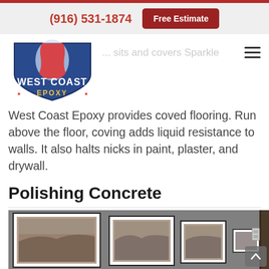(916) 531-1874   Free Estimate
[Figure (logo): West Coast Epoxy shield logo with California state outline in red and blue, with 'WEST COAST EPOXY' text]
West Coast Epoxy provides coved flooring. Run above the floor, coving adds liquid resistance to walls. It also halts nicks in paint, plaster, and drywall.
Polishing Concrete
[Figure (photo): Gallery wall with multiple framed black and white photographs of landscapes, displayed on a dark gray wall]